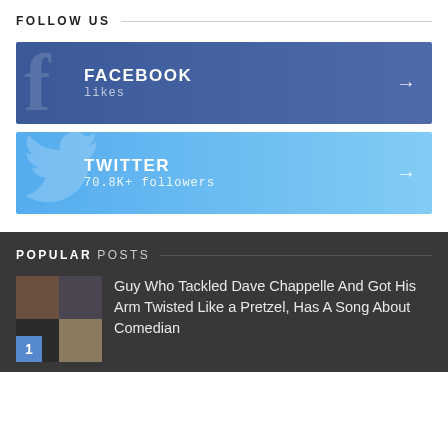FOLLOW US
[Figure (infographic): Facebook follow button box with blue gradient background, Facebook 'f' watermark, FACEBOOK label and 'likes' sub-text, arrow on right]
[Figure (infographic): Twitter follow button box with light blue gradient background, Twitter bird watermark, TWITTER label and '70.8K+ followers' sub-text, arrow on right]
POPULAR POSTS
[Figure (photo): Thumbnail grid of 4 photos showing people, with number badge '1' in blue]
Guy Who Tackled Dave Chappelle And Got His Arm Twisted Like a Pretzel, Has A Song About Comedian